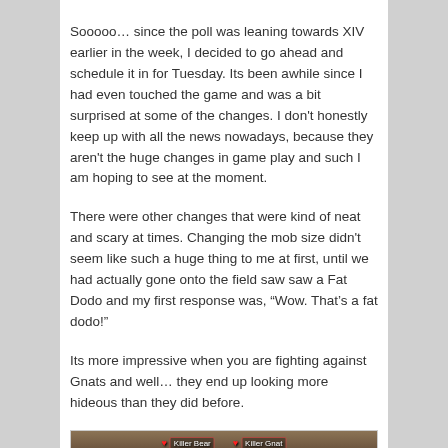Sooooo… since the poll was leaning towards XIV earlier in the week, I decided to go ahead and schedule it in for Tuesday. Its been awhile since I had even touched the game and was a bit surprised at some of the changes. I don't honestly keep up with all the news nowadays, because they aren't the huge changes in game play and such I am hoping to see at the moment.
There were other changes that were kind of neat and scary at times. Changing the mob size didn't seem like such a huge thing to me at first, until we had actually gone onto the field saw saw a Fat Dodo and my first response was, "Wow. That's a fat dodo!"
Its more impressive when you are fighting against Gnats and well… they end up looking more hideous than they did before.
[Figure (screenshot): A screenshot from a video game (Final Fantasy XIV) showing a field scene with enemy characters. Two HUD name tags are visible at the top: a heart icon with 'Killer Bear' and another with 'Killer Gnat'. The environment shows rocky terrain with warm brown/orange tones.]